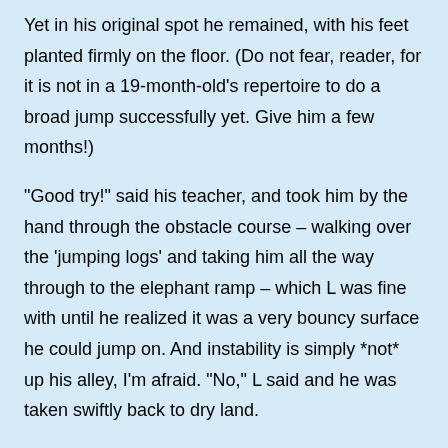Yet in his original spot he remained, with his feet planted firmly on the floor. (Do not fear, reader, for it is not in a 19-month-old's repertoire to do a broad jump successfully yet. Give him a few months!)
“Good try!” said his teacher, and took him by the hand through the obstacle course – walking over the ‘jumping logs’ and taking him all the way through to the elephant ramp – which L was fine with until he realized it was a very bouncy surface he could jump on. And instability is simply *not* up his alley, I’m afraid. “No,” L said and he was taken swiftly back to dry land.
After the obstacle course little L and his friends participated in soccer kicks where they were to stand in one place put their left foot in place and kick with the right foot. L was able to do this with fair accuracy, though the force of his kick was on the gentler side.
What a neat thing to see a young child participate in organized activities like this, to be able to follow directions and interact with